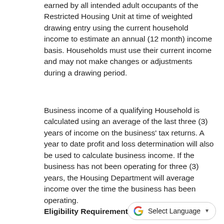earned by all intended adult occupants of the Restricted Housing Unit at time of weighted drawing entry using the current household income to estimate an annual (12 month) income basis. Households must use their current income and may not make changes or adjustments during a drawing period.
Business income of a qualifying Household is calculated using an average of the last three (3) years of income on the business' tax returns. A year to date profit and loss determination will also be used to calculate business income. If the business has not been operating for three (3) years, the Housing Department will average income over the time the business has been operating.
Eligibility Requirements: